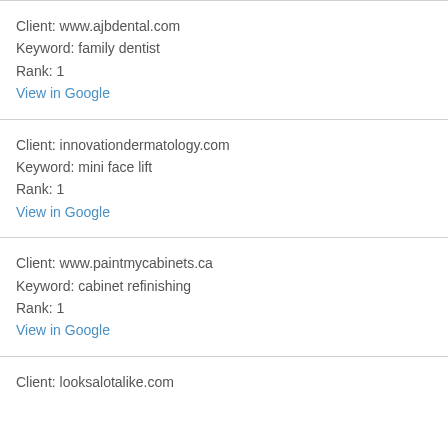Client: www.ajbdental.com
Keyword: family dentist
Rank: 1
View in Google
Client: innovationdermatology.com
Keyword: mini face lift
Rank: 1
View in Google
Client: www.paintmycabinets.ca
Keyword: cabinet refinishing
Rank: 1
View in Google
Client: looksalotalike.com